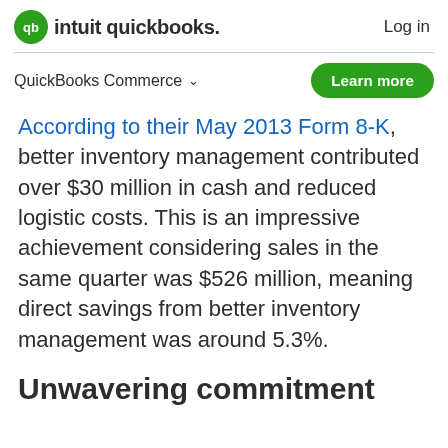intuit quickbooks. Log in
QuickBooks Commerce
According to their May 2013 Form 8-K, better inventory management contributed over $30 million in cash and reduced logistic costs. This is an impressive achievement considering sales in the same quarter was $526 million, meaning direct savings from better inventory management was around 5.3%.
Unwavering commitment